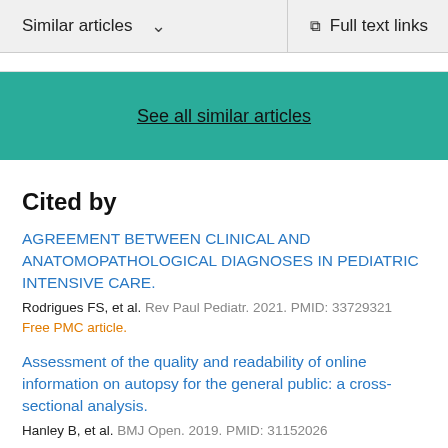Similar articles   ∨   Full text links
See all similar articles
Cited by
AGREEMENT BETWEEN CLINICAL AND ANATOMOPATHOLOGICAL DIAGNOSES IN PEDIATRIC INTENSIVE CARE.
Rodrigues FS, et al. Rev Paul Pediatr. 2021. PMID: 33729321
Free PMC article.
Assessment of the quality and readability of online information on autopsy for the general public: a cross-sectional analysis.
Hanley B, et al. BMJ Open. 2019. PMID: 31152026